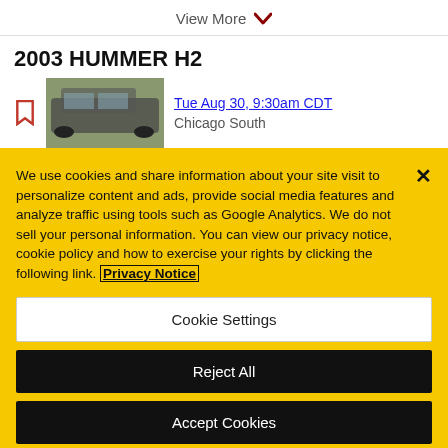View More ▾
2003 HUMMER H2
[Figure (photo): Thumbnail photo of a dark Hummer H2 vehicle]
Tue Aug 30, 9:30am CDT
Chicago South
We use cookies and share information about your site visit to personalize content and ads, provide social media features and analyze traffic using tools such as Google Analytics. We do not sell your personal information. You can view our privacy notice, cookie policy and how to exercise your rights by clicking the following link. Privacy Notice
Cookie Settings
Reject All
Accept Cookies